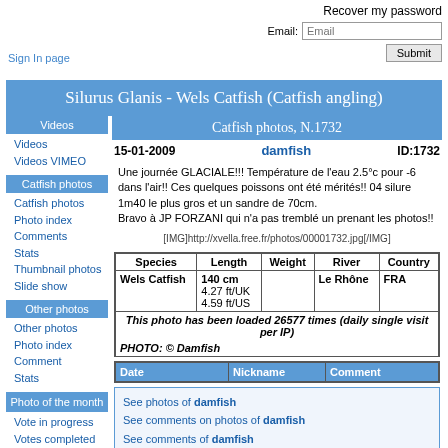Recover my password
Email:
Sign In page
Silurus Glanis - Wels Catfish (Catfish angling)
Videos
Videos
Videos VIMEO
Catfish photos
Catfish photos
Photo index
Comments
Stats
Thumbnail photos
Slide show
Other photos
Other photos
Photo index
Comment
Stats
Photo of the month
Vote in progress
Votes completed
Catfish photos, N.1732
15-01-2009    damfish    ID:1732
Une journée GLACIALE!!! Température de l'eau 2.5°c pour -6 dans l'air!! Ces quelques poissons ont été mérités!! 04 silure 1m40 le plus gros et un sandre de 70cm.
Bravo à JP FORZANI qui n'a pas tremblé un prenant les photos!!
[IMG]http://xvella.free.fr/photos/00001732.jpg[/IMG]
| Species | Length | Weight | River | Country |
| --- | --- | --- | --- | --- |
| Wels Catfish | 140 cm
4.27 ft/UK
4.59 ft/US |  | Le Rhône | FRA |
This photo has been loaded 26577 times (daily single visit per IP)
PHOTO: © Damfish
| Date | Nickname | Comment |
| --- | --- | --- |
See photos of damfish
See comments on photos of damfish
See comments of damfish